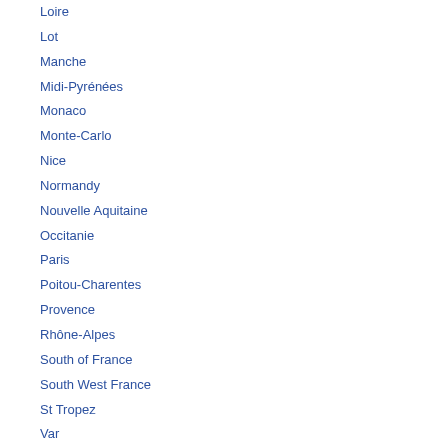Loire
Lot
Manche
Midi-Pyrénées
Monaco
Monte-Carlo
Nice
Normandy
Nouvelle Aquitaine
Occitanie
Paris
Poitou-Charentes
Provence
Rhône-Alpes
South of France
South West France
St Tropez
Var
Vaucluse
Vendée
All regions and depts
POPULAR SEARCHES
Beach (2km)
Châteaux
Chauvel Permier